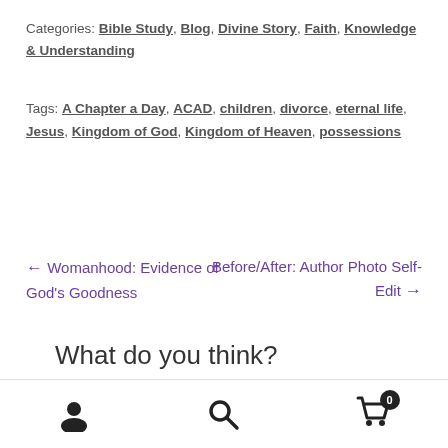Categories: Bible Study, Blog, Divine Story, Faith, Knowledge & Understanding
Tags: A Chapter a Day, ACAD, children, divorce, eternal life, Jesus, Kingdom of God, Kingdom of Heaven, possessions
← Womanhood: Evidence of God's Goodness
Before/After: Author Photo Self-Edit →
What do you think?
user icon | search icon | cart (0)